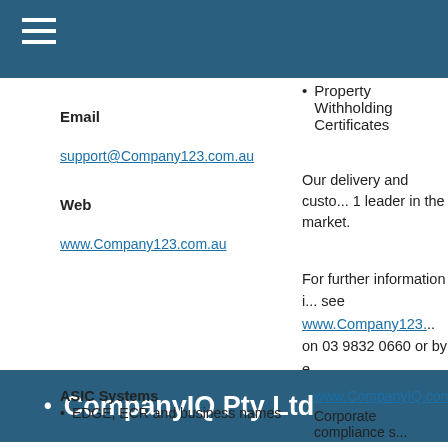Email
support@Company123.com.au
Web
www.Company123.com.au
Property Withholding Certificates
Our delivery and customer... 1 leader in the market.
For further information i... see www.Company123... on 03 9832 0660 or by ... support@Company123...
CompanyIQ Pty Ltd
ASIC Systems
EDGE, ECR and business names
www.CompanyIQ.com.a...
Corporate compliance s...